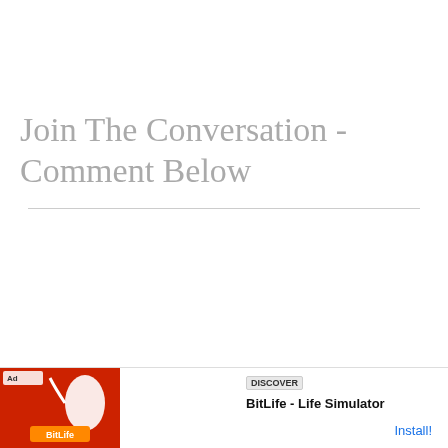Join The Conversation - Comment Below
[Figure (screenshot): Video player with black background showing 'Loading ad' text, a spinning loading circle, and playback controls (pause, fullscreen, mute)]
[Figure (screenshot): Advertisement banner for BitLife - Life Simulator app with red background graphic and Install button]